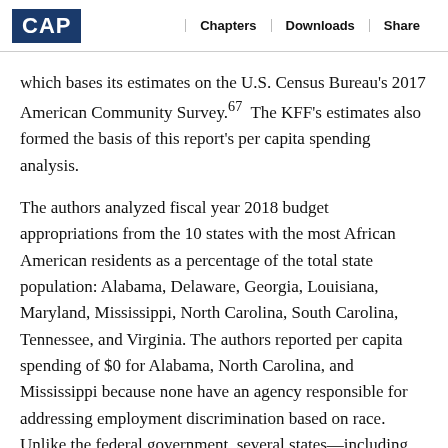CAP | Chapters | Downloads | Share
which bases its estimates on the U.S. Census Bureau's 2017 American Community Survey.67 The KFF's estimates also formed the basis of this report's per capita spending analysis.
The authors analyzed fiscal year 2018 budget appropriations from the 10 states with the most African American residents as a percentage of the total state population: Alabama, Delaware, Georgia, Louisiana, Maryland, Mississippi, North Carolina, South Carolina, Tennessee, and Virginia. The authors reported per capita spending of $0 for Alabama, North Carolina, and Mississippi because none have an agency responsible for addressing employment discrimination based on race. Unlike the federal government, several states—including South Carolina and Tennessee—